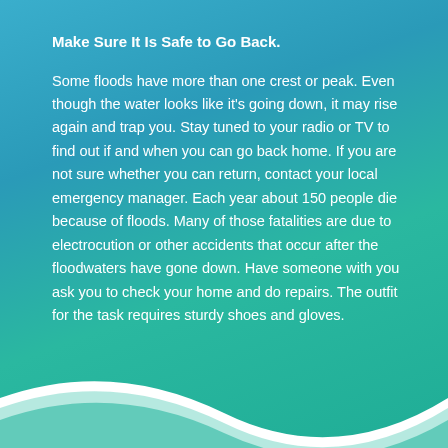Make Sure It Is Safe to Go Back.
Some floods have more than one crest or peak. Even though the water looks like it's going down, it may rise again and trap you. Stay tuned to your radio or TV to find out if and when you can go back home. If you are not sure whether you can return, contact your local emergency manager. Each year about 150 people die because of floods. Many of those fatalities are due to electrocution or other accidents that occur after the floodwaters have gone down. Have someone with you ask you to check your home and do repairs. The outfit for the task requires sturdy shoes and gloves.
[Figure (illustration): Decorative teal wave shape at the bottom of the page forming a V-notch design with white and light teal curves.]